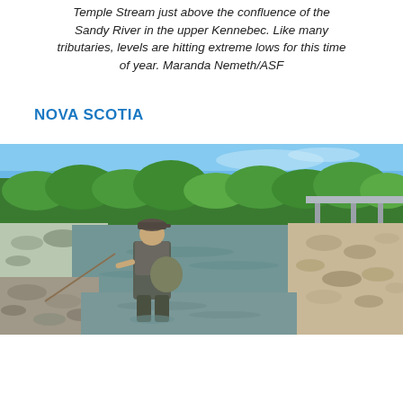Temple Stream just above the confluence of the Sandy River in the upper Kennebec. Like many tributaries, levels are hitting extreme lows for this time of year. Maranda Nemeth/ASF
NOVA SCOTIA
[Figure (photo): A person wearing waders and a cap stands fly fishing in a shallow rocky river with low water levels. Green trees and a bridge visible in the background under a blue sky.]